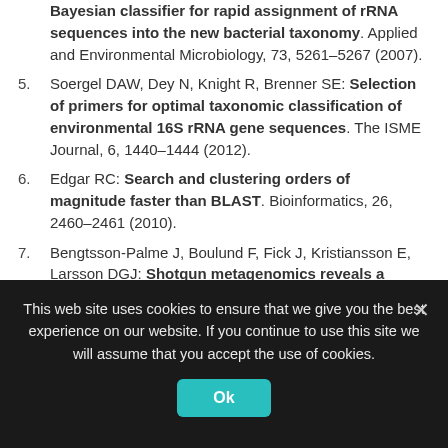Bayesian classifier for rapid assignment of rRNA sequences into the new bacterial taxonomy. Applied and Environmental Microbiology, 73, 5261–5267 (2007).
5. Soergel DAW, Dey N, Knight R, Brenner SE: Selection of primers for optimal taxonomic classification of environmental 16S rRNA gene sequences. The ISME Journal, 6, 1440–1444 (2012).
6. Edgar RC: Search and clustering orders of magnitude faster than BLAST. Bioinformatics, 26, 2460–2461 (2010).
7. Bengtsson-Palme J, Boulund F, Fick J, Kristiansson E, Larsson DGJ: Shotgun metagenomics reveals a
This web site uses cookies to ensure that we give you the best experience on our website. If you continue to use this site we will assume that you accept the use of cookies.